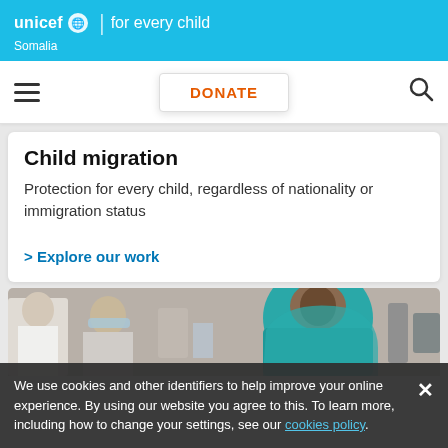unicef for every child Somalia
DONATE
Child migration
Protection for every child, regardless of nationality or immigration status
> Explore our work
[Figure (photo): Photo of medical/healthcare workers and a woman wearing a teal hijab, looking downward]
We use cookies and other identifiers to help improve your online experience. By using our website you agree to this. To learn more, including how to change your settings, see our cookies policy.